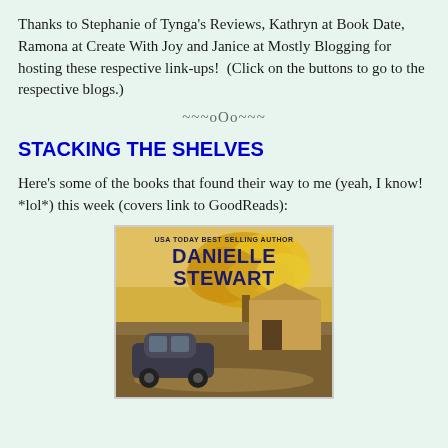Thanks to Stephanie of Tynga's Reviews, Kathryn at Book Date, Ramona at Create With Joy and Janice at Mostly Blogging for hosting these respective link-ups!  (Click on the buttons to go to the respective blogs.)
~~~oOo~~~
STACKING THE SHELVES
Here's some of the books that found their way to me (yeah, I know! *lol*) this week (covers link to GoodReads):
[Figure (illustration): Book cover for a Danielle Stewart novel. Text reads 'USA Today Best Selling Author' at top and 'DANIELLE STEWART' in large bold dark blue letters. Background shows an autumn scene with yellow-leaved trees, a barn/shelter structure, a vintage black car in the foreground, and a gravel path.]